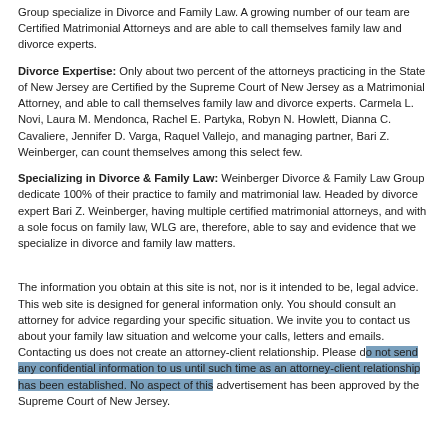Group specialize in Divorce and Family Law. A growing number of our team are Certified Matrimonial Attorneys and are able to call themselves family law and divorce experts.
Divorce Expertise: Only about two percent of the attorneys practicing in the State of New Jersey are Certified by the Supreme Court of New Jersey as a Matrimonial Attorney, and able to call themselves family law and divorce experts. Carmela L. Novi, Laura M. Mendonca, Rachel E. Partyka, Robyn N. Howlett, Dianna C. Cavaliere, Jennifer D. Varga, Raquel Vallejo, and managing partner, Bari Z. Weinberger, can count themselves among this select few.
Specializing in Divorce & Family Law: Weinberger Divorce & Family Law Group dedicate 100% of their practice to family and matrimonial law. Headed by divorce expert Bari Z. Weinberger, having multiple certified matrimonial attorneys, and with a sole focus on family law, WLG are, therefore, able to say and evidence that we specialize in divorce and family law matters.
The information you obtain at this site is not, nor is it intended to be, legal advice. This web site is designed for general information only. You should consult an attorney for advice regarding your specific situation. We invite you to contact us about your family law situation and welcome your calls, letters and emails. Contacting us does not create an attorney-client relationship. Please do not send any confidential information to us until such time as an attorney-client relationship has been established. No aspect of this advertisement has been approved by the Supreme Court of New Jersey.